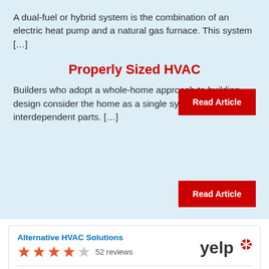A dual-fuel or hybrid system is the combination of an electric heat pump and a natural gas furnace. This system […]
Read Article
Properly Sized HVAC
Builders who adopt a whole-home approach to building design consider the home as a single system consisting of interdependent parts. […]
Read Article
Alternative HVAC Solutions
52 reviews
Jean T